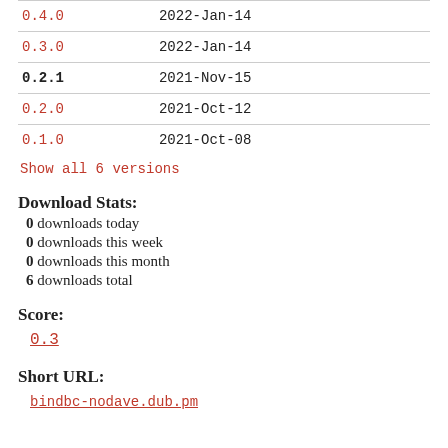| Version | Date |
| --- | --- |
| 0.4.0 | 2022-Jan-14 |
| 0.3.0 | 2022-Jan-14 |
| 0.2.1 | 2021-Nov-15 |
| 0.2.0 | 2021-Oct-12 |
| 0.1.0 | 2021-Oct-08 |
Show all 6 versions
Download Stats:
0 downloads today
0 downloads this week
0 downloads this month
6 downloads total
Score:
0.3
Short URL:
bindbc-nodave.dub.pm